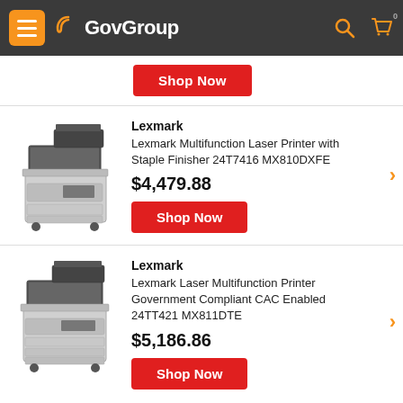GovGroup
Shop Now
Lexmark
Lexmark Multifunction Laser Printer with Staple Finisher 24T7416 MX810DXFE
$4,479.88
Shop Now
Lexmark
Lexmark Laser Multifunction Printer Government Compliant CAC Enabled 24TT421 MX811DTE
$5,186.86
Shop Now